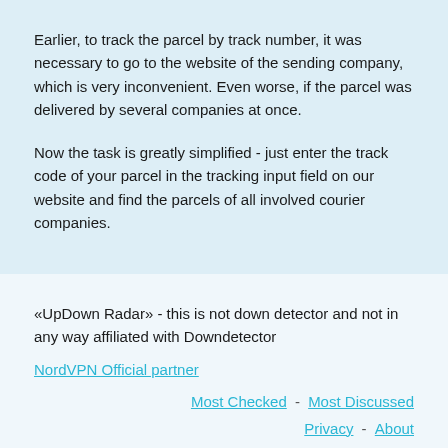Earlier, to track the parcel by track number, it was necessary to go to the website of the sending company, which is very inconvenient. Even worse, if the parcel was delivered by several companies at once.
Now the task is greatly simplified - just enter the track code of your parcel in the tracking input field on our website and find the parcels of all involved courier companies.
«UpDown Radar» - this is not down detector and not in any way affiliated with Downdetector
NordVPN Official partner
Most Checked  -  Most Discussed
Privacy  -  About